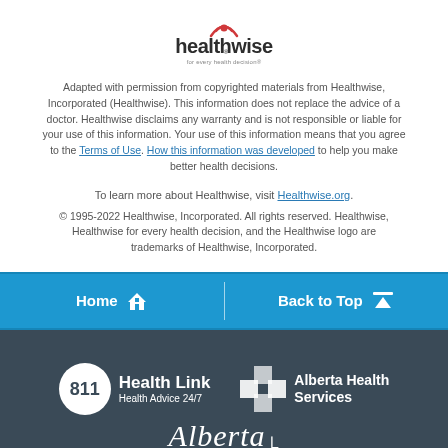[Figure (logo): Healthwise logo with red wifi/signal icon above stylized text 'healthwise' and tagline 'for every health decision']
Adapted with permission from copyrighted materials from Healthwise, Incorporated (Healthwise). This information does not replace the advice of a doctor. Healthwise disclaims any warranty and is not responsible or liable for your use of this information. Your use of this information means that you agree to the Terms of Use. How this information was developed to help you make better health decisions.
To learn more about Healthwise, visit Healthwise.org.
© 1995-2022 Healthwise, Incorporated. All rights reserved. Healthwise, Healthwise for every health decision, and the Healthwise logo are trademarks of Healthwise, Incorporated.
[Figure (infographic): Blue navigation bar with 'Home' button with house icon on left and 'Back to Top' button with up arrow icon on right, separated by a vertical divider]
[Figure (logo): Dark blue-grey footer with 811 Health Link (Health Advice 24/7) logo, Alberta Health Services logo with cross icon, and Alberta script wordmark]